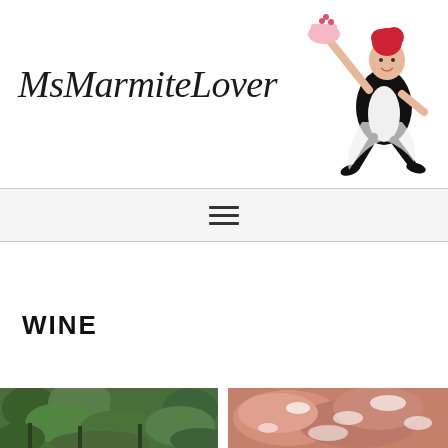[Figure (logo): MsMarmiteLover website logo with site title text in serif italic font and cartoon mascot illustration of a woman in a black dress and apron holding a cake, with red hair]
WINE
[Figure (photo): Two thumbnail photos: left shows a green vineyard or garden with dense foliage; right shows a close-up of pink/rose-colored food item, possibly meat or a dessert with white powdery coating]